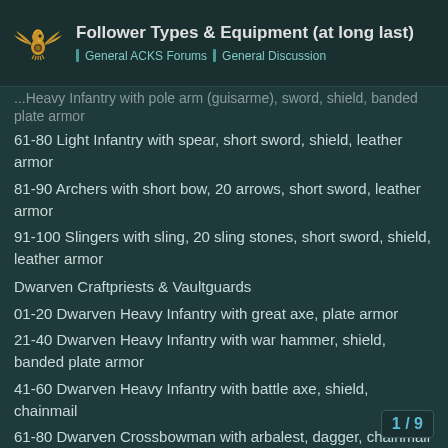Follower Types & Equipment (at long last) | General ACKS Forums | General Discussion
...Heavy Infantry with pole arm (guisarme), sword, shield, banded plate armor
61-80 Light Infantry with spear, short sword, shield, leather armor
81-90 Archers with short bow, 20 arrows, short sword, leather armor
91-100 Slingers with sling, 20 sling stones, short sword, shield, leather armor
Dwarven Craftpriests & Vaultguards
01-20 Dwarven Heavy Infantry with great axe, plate armor
21-40 Dwarven Heavy Infantry with war hammer, shield, banded plate armor
41-60 Dwarven Heavy Infantry with battle axe, shield, chainmail
61-80 Dwarven Crossbowman with arbalest, dagger, chainmail
81-100 Dwarven Mounted Crossbowman with crossbow, chainmail, mule
Elven Spellswords
01-15 Elven Horse Archers with composite bow, leather armor, light warhorse
16-30 Elven Light Cavalry with lance, shield...